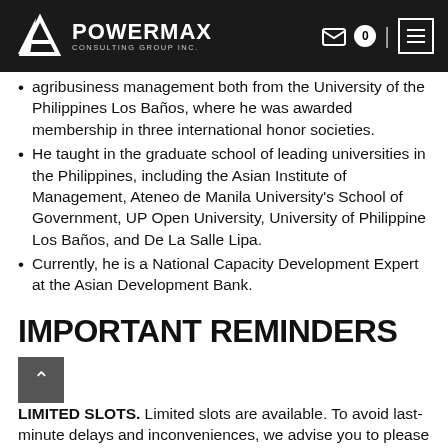POWERMAX CONSULTING GROUP INC.
agribusiness management both from the University of the Philippines Los Baños, where he was awarded membership in three international honor societies.
He taught in the graduate school of leading universities in the Philippines, including the Asian Institute of Management, Ateneo de Manila University's School of Government, UP Open University, University of Philippine Los Baños, and De La Salle Lipa.
Currently, he is a National Capacity Development Expert at the Asian Development Bank.
IMPORTANT REMINDERS
LIMITED SLOTS. Limited slots are available. To avoid last-minute delays and inconveniences, we advise you to please